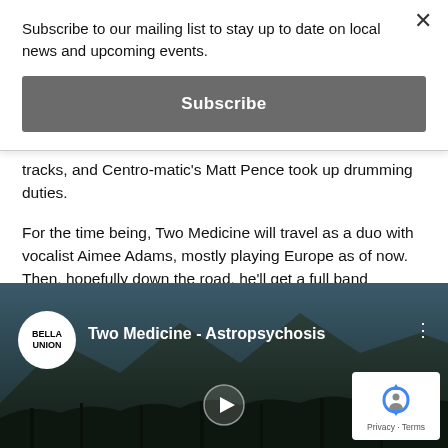Subscribe to our mailing list to stay up to date on local news and upcoming events.
Subscribe
tracks, and Centro-matic's Matt Pence took up drumming duties.
For the time being, Two Medicine will travel as a duo with vocalist Aimee Adams, mostly playing Europe as of now. Then, hopefully down the road, he'll get a full band together and tour the land from which the band's name is derived – Two Medicine is a national park in Montana that Alexander calls "a majestic place, without spoil."
[Figure (screenshot): YouTube video embed showing 'Two Medicine - Astropsychosis' with Bella Union logo, dark mountain/forest background, play button, and reCAPTCHA badge]